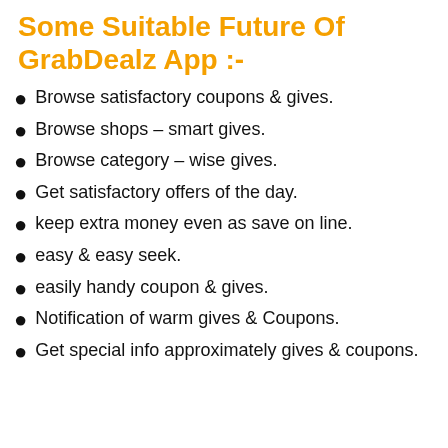Some Suitable Future Of GrabDealz App :-
Browse satisfactory coupons & gives.
Browse shops – smart gives.
Browse category – wise gives.
Get satisfactory offers of the day.
keep extra money even as save on line.
easy & easy seek.
easily handy coupon & gives.
Notification of warm gives & Coupons.
Get special info approximately gives & coupons.